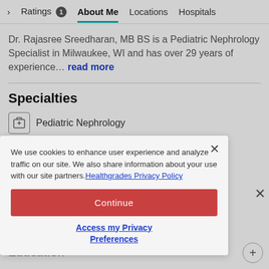Ratings 1 | About Me | Locations | Hospitals
Dr. Rajasree Sreedharan, MB BS is a Pediatric Nephrology Specialist in Milwaukee, WI and has over 29 years of experience... read more
Specialties
Pediatric Nephrology
We use cookies to enhance user experience and analyze traffic on our site. We also share information about your use with our site partners. Healthgrades Privacy Policy
Continue
Access my Privacy Preferences
Education